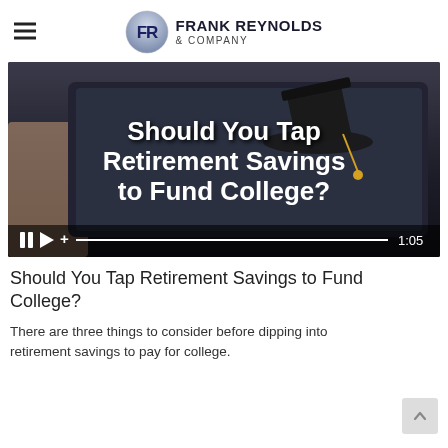Frank Reynolds & Company
[Figure (screenshot): Video thumbnail showing a graduation cap on a tablet screen with overlay text 'Should You Tap Retirement Savings to Fund College?' and video controls showing duration 1:05]
Should You Tap Retirement Savings to Fund College?
There are three things to consider before dipping into retirement savings to pay for college.